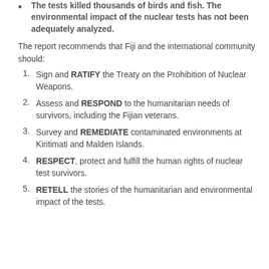The tests killed thousands of birds and fish. The environmental impact of the nuclear tests has not been adequately analyzed.
The report recommends that Fiji and the international community should:
Sign and RATIFY the Treaty on the Prohibition of Nuclear Weapons.
Assess and RESPOND to the humanitarian needs of survivors, including the Fijian veterans.
Survey and REMEDIATE contaminated environments at Kiritimati and Malden Islands.
RESPECT, protect and fulfill the human rights of nuclear test survivors.
RETELL the stories of the humanitarian and environmental impact of the tests.